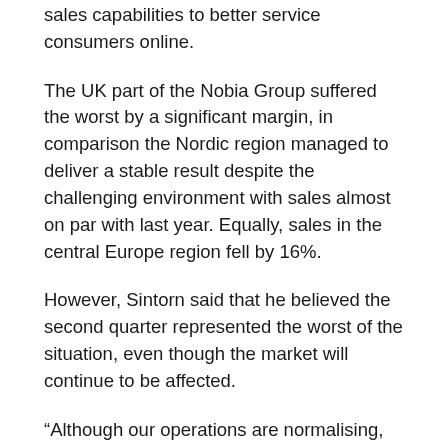sales capabilities to better service consumers online.
The UK part of the Nobia Group suffered the worst by a significant margin, in comparison the Nordic region managed to deliver a stable result despite the challenging environment with sales almost on par with last year. Equally, sales in the central Europe region fell by 16%.
However, Sintorn said that he believed the second quarter represented the worst of the situation, even though the market will continue to be affected.
“Although our operations are normalising, we foresee that the short-term performance will continue to be impacted by the global recession, albeit not to the same extent as during the second quarter,” he said
“He…